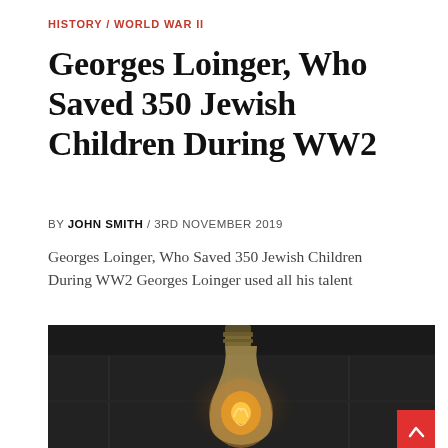HISTORY / WORLD WAR II
Georges Loinger, Who Saved 350 Jewish Children During WW2
BY JOHN SMITH / 3RD NOVEMBER 2019
Georges Loinger, Who Saved 350 Jewish Children During WW2 Georges Loinger used all his talent
[Figure (photo): A vintage Edison/filament light bulb glowing with warm orange light against a dark blurred background. A red scroll-to-top button with an upward chevron arrow is visible in the bottom-right corner of the image.]